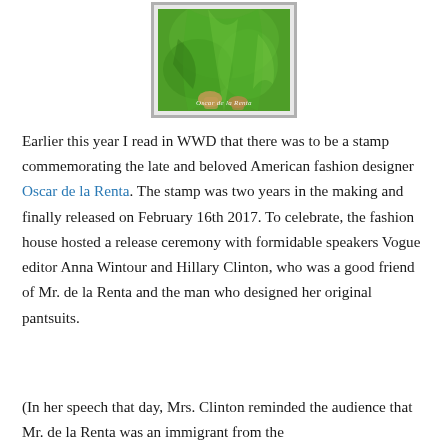[Figure (photo): A postage stamp featuring Oscar de la Renta fashion — a green flowing garment with the designer's signature at the bottom, set against a light gray stamp border.]
Earlier this year I read in WWD that there was to be a stamp commemorating the late and beloved American fashion designer Oscar de la Renta. The stamp was two years in the making and finally released on February 16th 2017. To celebrate, the fashion house hosted a release ceremony with formidable speakers Vogue editor Anna Wintour and Hillary Clinton, who was a good friend of Mr. de la Renta and the man who designed her original pantsuits.
(In her speech that day, Mrs. Clinton reminded the audience that Mr. de la Renta was an immigrant from the